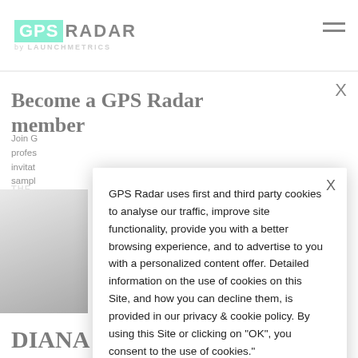GPS RADAR by LAUNCHMETRICS
Become a GPS Radar member
Join G... profes... invitat... sampl...
THE...
[Figure (photo): Black and white photo of woman with flowing hair]
DIANA SOTO
GPS Radar uses first and third party cookies to analyse our traffic, improve site functionality, provide you with a better browsing experience, and to advertise to you with a personalized content offer. Detailed information on the use of cookies on this Site, and how you can decline them, is provided in our privacy & cookie policy. By using this Site or clicking on "OK", you consent to the use of cookies."
OK
Privacy Policy >
Cookies Preferences >